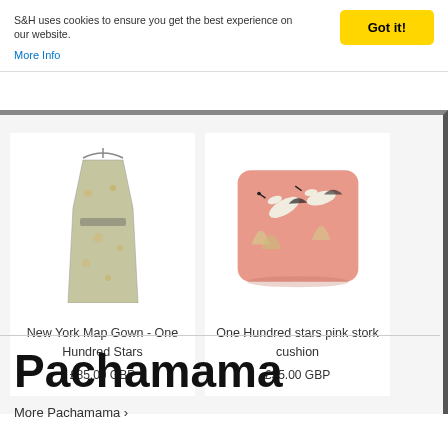S&H uses cookies to ensure you get the best experience on our website.
More Info
Got it!
[Figure (photo): Photo of a floral printed kimono-style gown hanging on a hanger, with grey and yellow floral pattern.]
New York Map Gown - One Hundred Stars
£85.00 GBP
[Figure (photo): Photo of a pink cushion with white stork/crane bird and leaf pattern on a pink background.]
One Hundred stars pink stork cushion
£35.00 GBP
Pachamama
More Pachamama ›